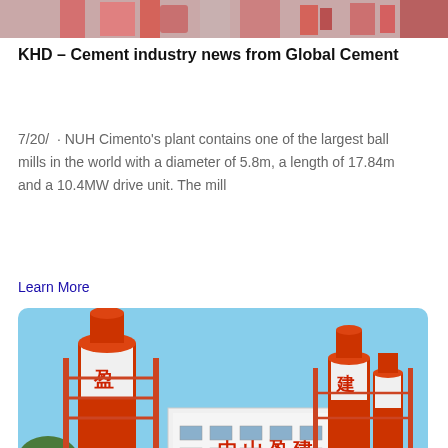[Figure (photo): Partial top image of red/pink mechanical parts (cropped)]
KHD – Cement industry news from Global Cement
7/20/ · NUH Cimento's plant contains one of the largest ball mills in the world with a diameter of 5.8m, a length of 17.84m and a 10.4MW drive unit. The mill
Learn More
[Figure (photo): Cement plant with red and white silos and a concrete mixing facility with Chinese text reading '中山盈建']
Ball mill – Wikipedia
A ball mill is a type of grinder used to grind or blend